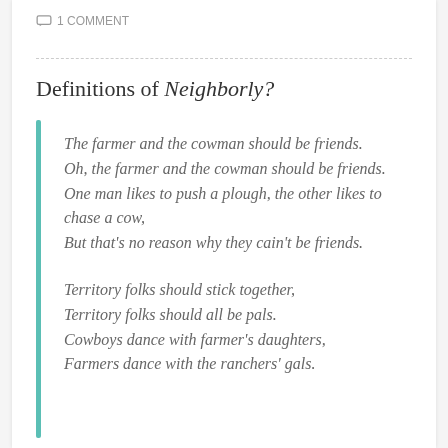1 COMMENT
Definitions of Neighborly?
The farmer and the cowman should be friends.
Oh, the farmer and the cowman should be friends.
One man likes to push a plough, the other likes to chase a cow,
But that’s no reason why they cain’t be friends.

Territory folks should stick together,
Territory folks should all be pals.
Cowboys dance with farmer’s daughters,
Farmers dance with the ranchers’ gals.